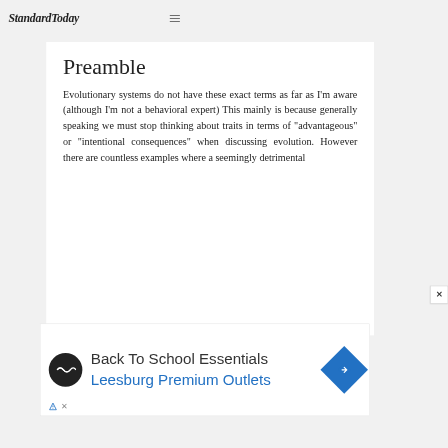StandardToday
Preamble
Evolutionary systems do not have these exact terms as far as I'm aware (although I'm not a behavioral expert) This mainly is because generally speaking we must stop thinking about traits in terms of "advantageous" or "intentional consequences" when discussing evolution. However there are countless examples where a seemingly detrimental